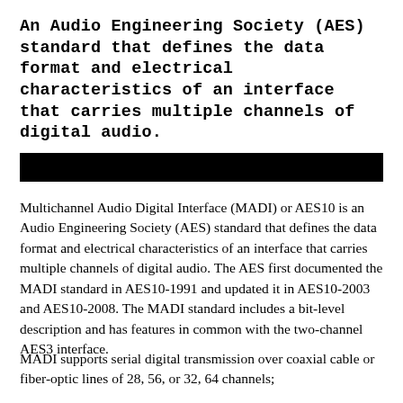An Audio Engineering Society (AES) standard that defines the data format and electrical characteristics of an interface that carries multiple channels of digital audio.
[Figure (other): Solid black horizontal bar, likely covering redacted or decorative content]
Multichannel Audio Digital Interface (MADI) or AES10 is an Audio Engineering Society (AES) standard that defines the data format and electrical characteristics of an interface that carries multiple channels of digital audio. The AES first documented the MADI standard in AES10-1991 and updated it in AES10-2003 and AES10-2008. The MADI standard includes a bit-level description and has features in common with the two-channel AES3 interface.
MADI supports serial digital transmission over coaxial cable or fiber-optic lines of 28, 56, or 32, 64 channels; and a sampling rate to 96kHz and beyond 54 with...